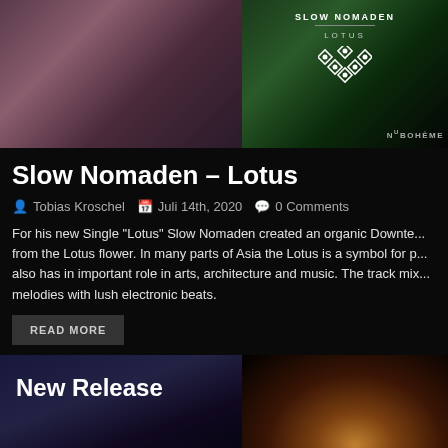[Figure (photo): Two images side by side: left shows a dark pinkish-purple background, right shows a dark floral/lotus image with 'SLOW NOMADEN' text, 'LOTUS' subtitle, a geometric logo/icon, and 'NUBOHÈME' label]
Slow Nomaden – Lotus
Tobias Kroschel   Juli 14th, 2020   0 Comments
For his new Single "Lotus" Slow Nomaden created an organic Downte... from the Lotus flower. In many parts of Asia the Lotus is a symbol for p... also has in important role in arts, architecture and music. The track mix... melodies with lush electronic beats.
READ MORE
[Figure (photo): Two partial images at bottom: left shows 'New Release' text overlay on dark abstract background, right shows a glowing orb/sphere against dark background]